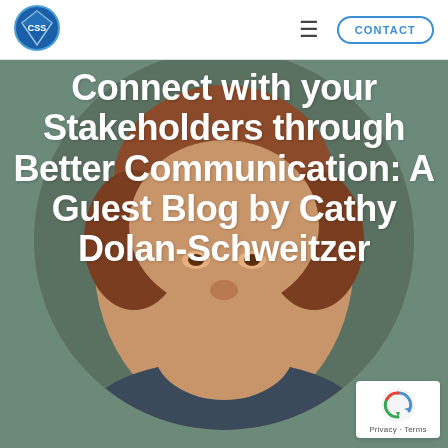[Figure (logo): CSS company logo - blue circular icon with 'CSS' text]
CSS logo | hamburger menu | CONTACT button
[Figure (photo): Circular portrait photo of Cathy Dolan-Schweitzer, a woman with short reddish-brown hair, smiling, on a dark green-gray background]
Connect with your Stakeholders through Better Communication: A Guest Blog by Cathy Dolan-Schweitzer
[Figure (other): reCAPTCHA badge with privacy and terms links]